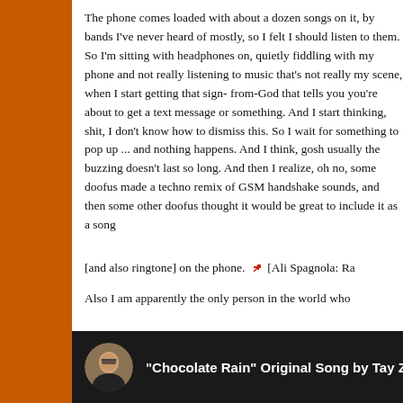The phone comes loaded with about a dozen songs on it, by bands I've never heard of mostly, so I felt I should listen to them. So I'm sitting with headphones on, quietly fiddling with my phone and not really listening to music that's not really my scene, when I start getting that sign-from-God that tells you you're about to get a text message or something. And I start thinking, shit, I don't know how to dismiss this. So I wait for something to pop up ... and nothing happens. And I think, gosh usually the buzzing doesn't last so long. And then I realize, oh no, some doofus made a techno remix of GSM handshake sounds, and then some other doofus thought it would be great to include it as a song [and also ringtone] on the phone. 🔗 [Ali Spagnola: Ra...
Also I am apparently the only person in the world who...
[Figure (screenshot): YouTube video embed showing 'Chocolate Rain' Original Song by Tay Zon... with a circular avatar of a person with glasses on the left, dark background]